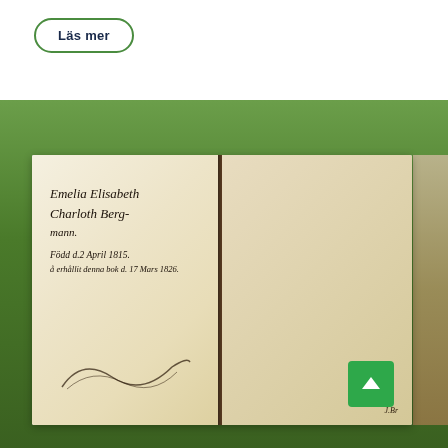[Figure (other): A button labeled 'Läs mer' (Read more) with a green rounded-rectangle border on a white background]
[Figure (photo): Photograph of an open antique book with handwritten Swedish text on the left page reading 'Emelia Elisabeth Charloth Bergmann. Född d.2 April 1815. å erhållit denna bok d.17 Mars 1826.' and a small watercolor painting of a manor house with trees on the right page, initialed 'J.B.' at the bottom. The book rests on a floral patterned surface with trees visible in the background.]